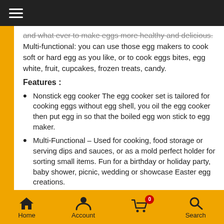Navigation bar with hamburger menu
and what ever to make eggs more healthy and delicious. Multi-functional: you can use those egg makers to cook soft or hard egg as you like, or to cook eggs bites, egg white, fruit, cupcakes, frozen treats, candy.
Features :
Nonstick egg cooker The egg cooker set is tailored for cooking eggs without egg shell, you oil the egg cooker then put egg in so that the boiled egg won stick to egg maker.
Multi-Functional – Used for cooking, food storage or serving dips and sauces, or as a mold perfect holder for sorting small items. Fun for a birthday or holiday party, baby shower, picnic, wedding or showcase Easter egg creations.
Convenience – 6 individual egg boiler with lid making you
Home  Account  0  Search